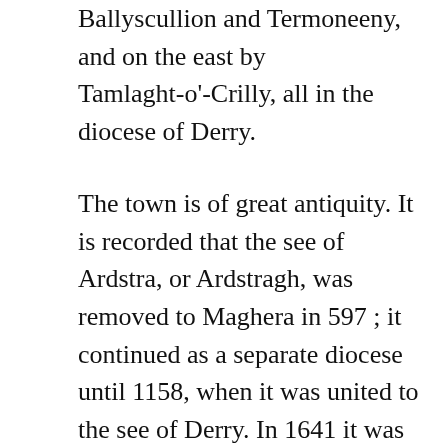Ballyscullion and Termoneeny, and on the east by Tamlaght-o'-Crilly, all in the diocese of Derry.
The town is of great antiquity. It is recorded that the see of Ardstra, or Ardstragh, was removed to Maghera in 597 ; it continued as a separate diocese until 1158, when it was united to the see of Derry. In 1641 it was burnt by the Irish, under Macdonnell. In 1688 it was assaulted by the army of James II, the inhabitants seeking refuge in the city of Derry.
It was anciently called Machaire Ratha Luraigh Machaire means a plain this was changed into its present name, Maghera. Ratha Luraigh means the fort of Lurach. St. Lurach was the